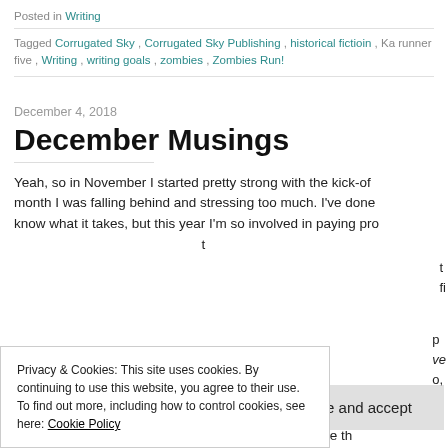Posted in Writing
Tagged Corrugated Sky, Corrugated Sky Publishing, historical fictioin, Ka runner five, Writing, writing goals, zombies, Zombies Run!
December 4, 2018
December Musings
Yeah, so in November I started pretty strong with the kick-off month I was falling behind and stressing too much. I've done know what it takes, but this year I'm so involved in paying pro
Privacy & Cookies: This site uses cookies. By continuing to use this website, you agree to their use.
To find out more, including how to control cookies, see here: Cookie Policy
Close and accept
writer's block that I've had for months dissolved. Since th